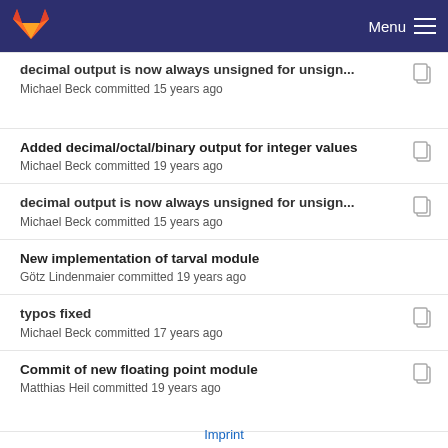Menu
decimal output is now always unsigned for unsign... | Michael Beck committed 15 years ago
Added decimal/octal/binary output for integer values | Michael Beck committed 19 years ago
decimal output is now always unsigned for unsign... | Michael Beck committed 15 years ago
New implementation of tarval module | Götz Lindenmaier committed 19 years ago
typos fixed | Michael Beck committed 17 years ago
Commit of new floating point module | Matthias Heil committed 19 years ago
Imprint